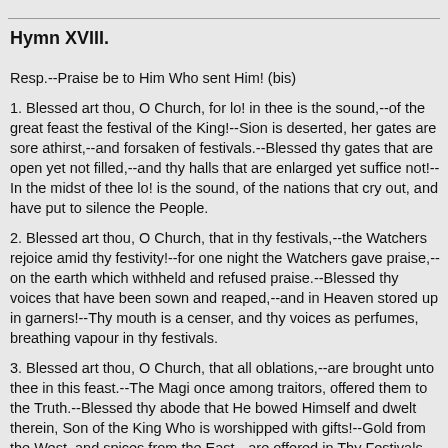Hymn XVIII.
Resp.--Praise be to Him Who sent Him! (bis)
1. Blessed art thou, O Church, for lo! in thee is the sound,--of the great feast the festival of the King!--Sion is deserted, her gates are sore athirst,--and forsaken of festivals.--Blessed thy gates that are open yet not filled,--and thy halls that are enlarged yet suffice not!--In the midst of thee lo! is the sound, of the nations that cry out, and have put to silence the People.
2. Blessed art thou, O Church, that in thy festivals,--the Watchers rejoice amid thy festivity!--for one night the Watchers gave praise,--on the earth which withheld and refused praise.--Blessed thy voices that have been sown and reaped,--and in Heaven stored up in garners!--Thy mouth is a censer, and thy voices as perfumes, breathing vapour in thy festivals.
3. Blessed art thou, O Church, that all oblations,--are brought unto thee in this feast.--The Magi once among traitors, offered them to the Truth.--Blessed thy abode that He bowed Himself and dwelt therein, Son of the King Who is worshipped with gifts!--Gold from the West, and spices from the East,--are offered in Thy Festivals.
4. Blessed art thou, O Church, that there is not with thee,--a tyrant King slayer of babes! for he killed in Bethlehem the little ones at